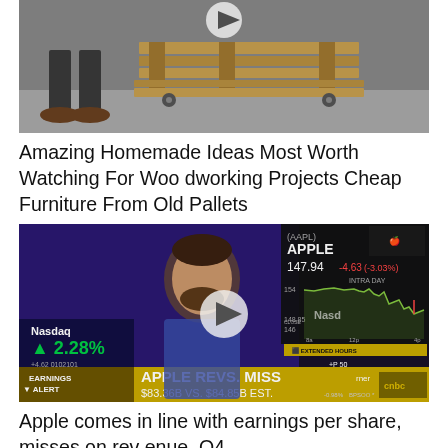[Figure (photo): A person standing next to wooden pallet furniture with a play button overlay]
Amazing Homemade Ideas Most Worth Watching For Woodworking Projects Cheap Furniture From Old Pallets
[Figure (screenshot): CNBC news broadcast showing Apple earnings miss alert: APPLE REVS. MISS $83.36B VS. $84.85B EST. with AAPL stock at 147.94 -4.63 (-3.03%) and a play button overlay]
Apple comes in line with earnings per share, misses on rev enue. Q4...